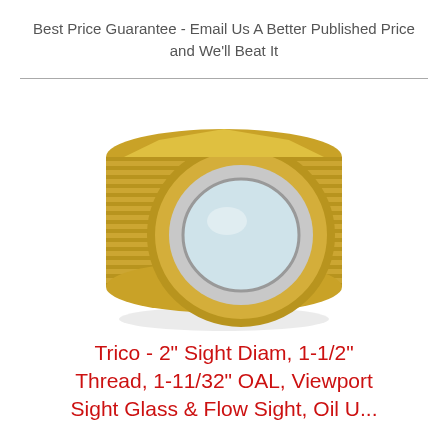Best Price Guarantee - Email Us A Better Published Price and We'll Beat It
[Figure (photo): Photo of a brass viewport sight glass fitting - cylindrical brass plug with external threads and a circular glass window in the center, viewed from a 3/4 angle]
Trico - 2" Sight Diam, 1-1/2" Thread, 1-11/32" OAL, Viewport Sight Glass & Flow Sight, Oil U...